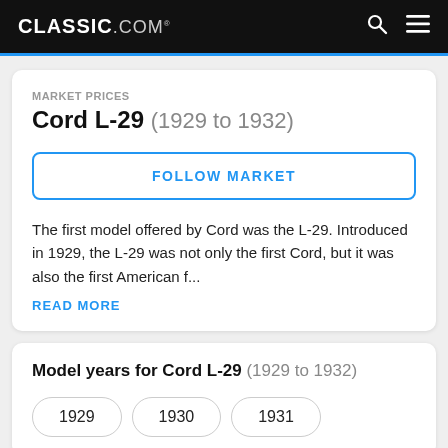CLASSIC.COM
MARKET PRICES
Cord L-29 (1929 to 1932)
FOLLOW MARKET
The first model offered by Cord was the L-29. Introduced in 1929, the L-29 was not only the first Cord, but it was also the first American f...
READ MORE
Model years for Cord L-29 (1929 to 1932)
1929
1930
1931